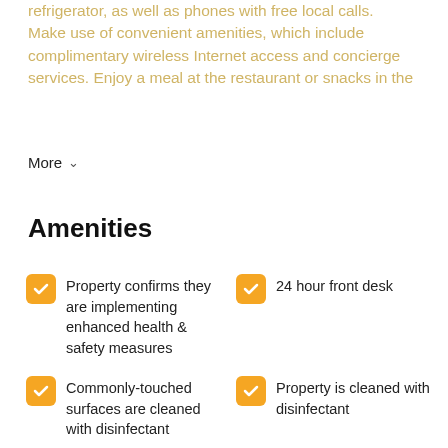refrigerator, as well as phones with free local calls. Make use of convenient amenities, which include complimentary wireless Internet access and concierge services. Enjoy a meal at the restaurant or snacks in the
More
Amenities
Property confirms they are implementing enhanced health & safety measures
24 hour front desk
Commonly-touched surfaces are cleaned with disinfectant
Property is cleaned with disinfectant
Restaurant
Property confirms